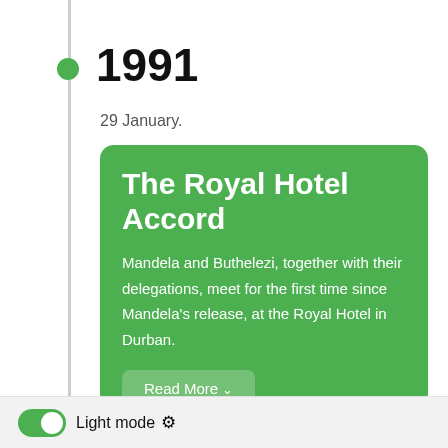1991
29 January.
The Royal Hotel Accord
Mandela and Buthelezi, together with their delegations, meet for the first time since Mandela's release, at the Royal Hotel in Durban.
Read More
Light mode